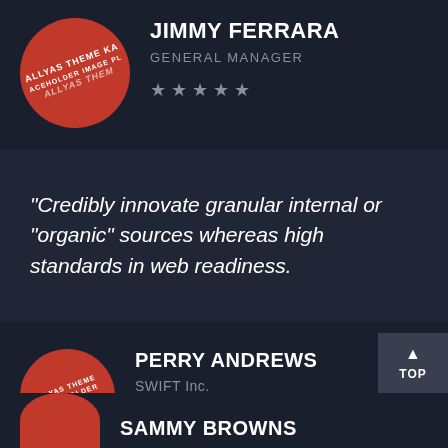[Figure (photo): Circular avatar placeholder image with red background and ALLYAS THEME PLACEHOLDER IMAGE text]
JIMMY FERRARA
GENERAL MANAGER
★ ★ ★ ★ ★
“Credibly innovate granular internal or “organic” sources whereas high standards in web readiness.
[Figure (photo): Circular avatar placeholder image with red background and ALLYAS THEME PLACEHOLDER IMAGE text]
PERRY ANDREWS
SWIFT Inc.
★ ★ ★ ★ ★
[Figure (photo): Circular avatar placeholder image with red background, partially visible at bottom]
SAMMY BROWNS